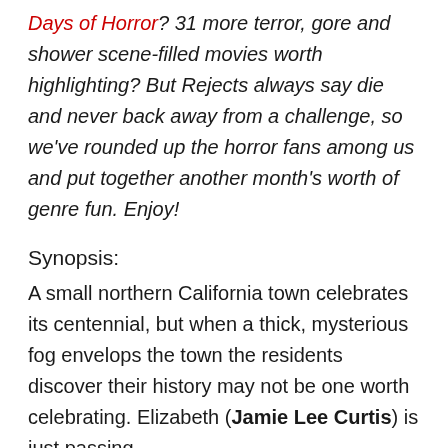Days of Horror? 31 more terror, gore and shower scene-filled movies worth highlighting? But Rejects always say die and never back away from a challenge, so we've rounded up the horror fans among us and put together another month's worth of genre fun. Enjoy!
Synopsis:
A small northern California town celebrates its centennial, but when a thick, mysterious fog envelops the town the residents discover their history may not be one worth celebrating. Elizabeth (Jamie Lee Curtis) is just passing